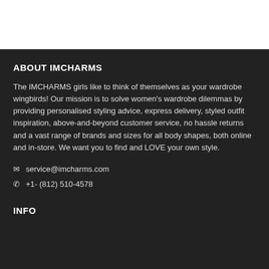ABOUT IMCHARMS
The IMCHARMS girls like to think of themselves as your wardrobe wingbirds! Our mission is to solve women's wardrobe dilemmas by providing personalised styling advice, express delivery, styled outfit inspiration, above-and-beyond customer service, no hassle returns and a vast range of brands and sizes for all body shapes, both online and in-store. We want you to find and LOVE your own style.
service@imcharms.com
+1- (812) 510-4578
INFO